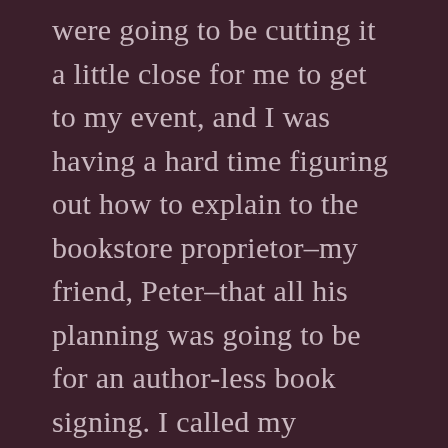were going to be cutting it a little close for me to get to my event, and I was having a hard time figuring out how to explain to the bookstore proprietor–my friend, Peter–that all his planning was going to be for an author-less book signing. I called my husband, who was speeding in my direction to rescue me, and told him he could go back.
Anyway–and now we're getting to the nub of the thing–the tow truck driver